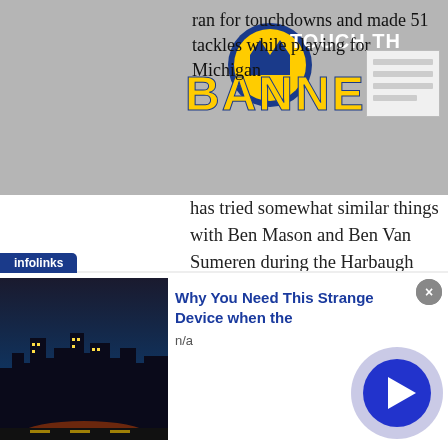[Figure (logo): Touch The Banner logo with Michigan football helmet, yellow and blue text on gray background]
ran for touchdowns and made 51 tackles while playing for Michigan has tried somewhat similar things with Ben Mason and Ben Van Sumeren during the Harbaugh era, but Mullings is the most talented dual-threat player of the three.
Prediction: Special teamer and backup running back/linebacker
[Figure (screenshot): Small document/screenshot thumbnail in top right]
[Figure (infographic): Infolinks advertisement: Why You Need This Strange Device when the - n/a, with city night scene image and play button]